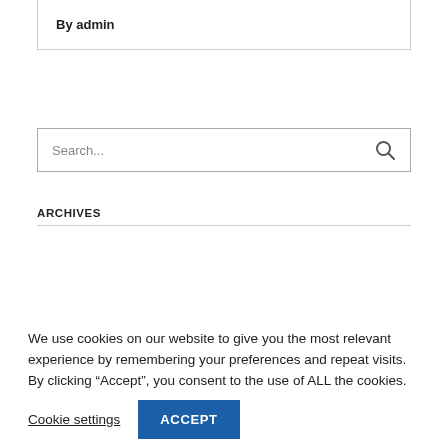By admin
[Figure (screenshot): Search input box with placeholder text 'Search...' and a search (magnifying glass) icon on the right]
ARCHIVES
We use cookies on our website to give you the most relevant experience by remembering your preferences and repeat visits. By clicking “Accept”, you consent to the use of ALL the cookies.
Cookie settings
ACCEPT